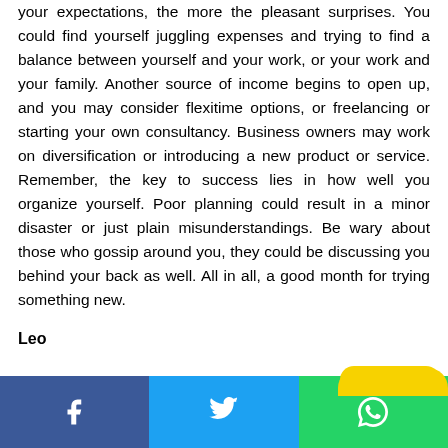adopt a more realistic approach to your life. The lesser your expectations, the more the pleasant surprises. You could find yourself juggling expenses and trying to find a balance between yourself and your work, or your work and your family. Another source of income begins to open up, and you may consider flexitime options, or freelancing or starting your own consultancy. Business owners may work on diversification or introducing a new product or service. Remember, the key to success lies in how well you organize yourself. Poor planning could result in a minor disaster or just plain misunderstandings. Be wary about those who gossip around you, they could be discussing you behind your back as well. All in all, a good month for trying something new.
Leo